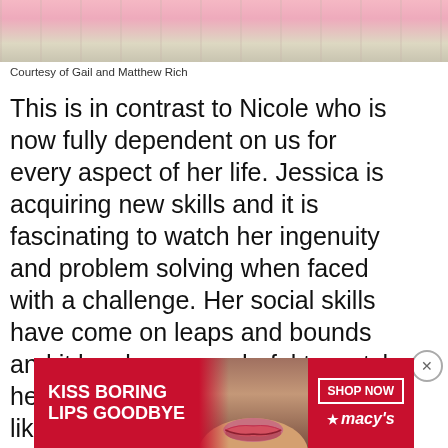[Figure (photo): Partial view of a photo showing pink fluffy material on a tiled floor]
Courtesy of Gail and Matthew Rich
This is in contrast to Nicole who is now fully dependent on us for every aspect of her life. Jessica is acquiring new skills and it is fascinating to watch her ingenuity and problem solving when faced with a challenge. Her social skills have come on leaps and bounds and it has been wonderful to watch her establish friendships at school like any other Year 5s. Every day, Jessica is proving to the world
[Figure (photo): Macy's advertisement banner: KISS BORING LIPS GOODBYE with a woman's lips, SHOP NOW button and macy's logo]